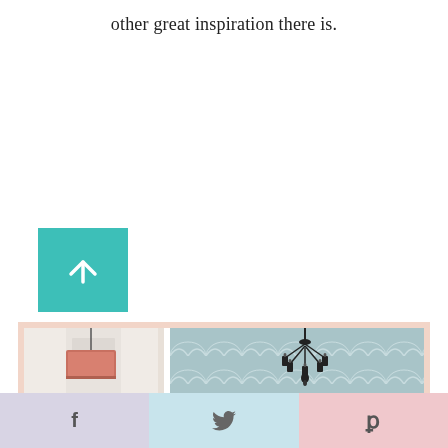other great inspiration there is.
[Figure (other): Teal/turquoise square button with white upward arrow icon (scroll to top button)]
[Figure (photo): A collage image strip showing two interior design photos: left shows a pink/copper pendant lamp in a white room, right shows a gray scallop-patterned wallpaper with a black chandelier]
[Figure (other): Social sharing bar with three buttons: Facebook (f) in lavender, Twitter (bird) in light blue, Pinterest (P) in light pink]